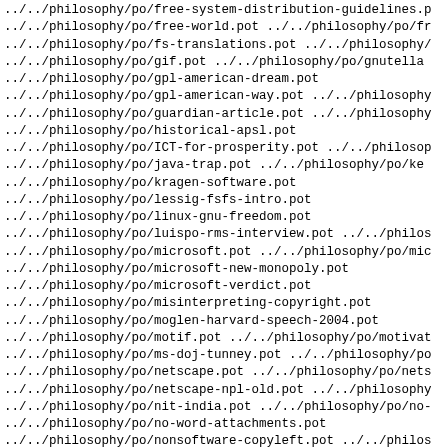../../philosophy/po/free-system-distribution-guidelines.p
../../philosophy/po/free-world.pot ../../philosophy/po/fr
../../philosophy/po/fs-translations.pot ../../philosophy/
../../philosophy/po/gif.pot ../../philosophy/po/gnutella
../../philosophy/po/gpl-american-dream.pot
../../philosophy/po/gpl-american-way.pot ../../philosophy
../../philosophy/po/guardian-article.pot ../../philosophy
../../philosophy/po/historical-apsl.pot
../../philosophy/po/ICT-for-prosperity.pot ../../philosop
../../philosophy/po/java-trap.pot ../../philosophy/po/ke
../../philosophy/po/kragen-software.pot
../../philosophy/po/lessig-fsfs-intro.pot
../../philosophy/po/linux-gnu-freedom.pot
../../philosophy/po/luispo-rms-interview.pot ../../philos
../../philosophy/po/microsoft.pot ../../philosophy/po/mic
../../philosophy/po/microsoft-new-monopoly.pot
../../philosophy/po/microsoft-verdict.pot
../../philosophy/po/misinterpreting-copyright.pot
../../philosophy/po/moglen-harvard-speech-2004.pot
../../philosophy/po/motif.pot ../../philosophy/po/motivat
../../philosophy/po/ms-doj-tunney.pot ../../philosophy/po
../../philosophy/po/netscape.pot ../../philosophy/po/nets
../../philosophy/po/netscape-npl-old.pot ../../philosophy
../../philosophy/po/nit-india.pot ../../philosophy/po/no-
../../philosophy/po/no-word-attachments.pot
../../philosophy/po/nonsoftware-copyleft.pot ../../philos
../../philosophy/po/open-source-misses-the-point.pot
../../philosophy/po/opposing-drm.pot
../../philosophy/po/papadopoulos-response.pot
../../philosophy/po/patent-practice-panel.pot